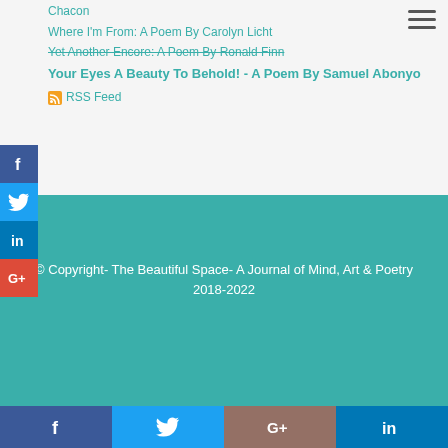Chacon
Where I'm From: A Poem By Carolyn Licht
Yet Another Encore: A Poem By Ronald Finn
Your Eyes A Beauty To Behold! - A Poem By Samuel Abonyo
RSS Feed
© Copyright- The Beautiful Space- A Journal of Mind, Art & Poetry 2018-2022